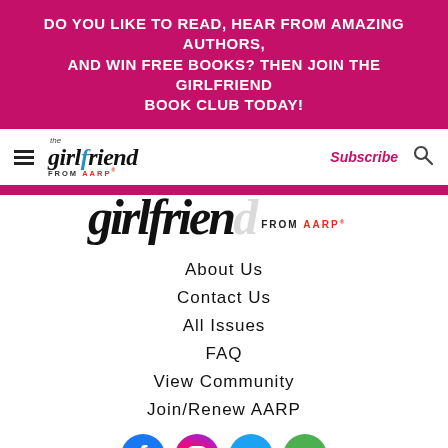DO YOU LIKE TO READ, HEAR FROM AMAZING AUTHORS, AND WIN FREE BOOKS? THEN JOIN THE GIRLFRIEND BOOK CLUB TODAY!
[Figure (logo): The Girlfriend from AARP logo in navbar]
Subscribe
[Figure (logo): Large The Girlfriend from AARP logo strip]
About Us
Contact Us
All Issues
FAQ
View Community
Join/Renew AARP
[Figure (illustration): Social media icons row: Facebook, Instagram, Twitter, Email]